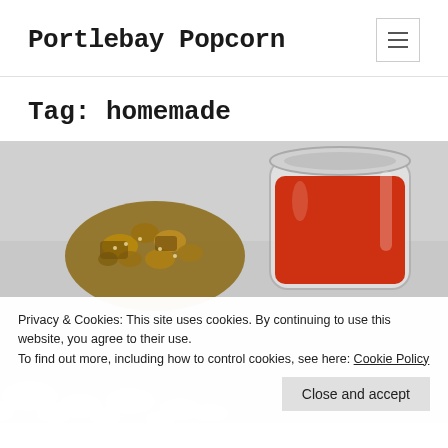Portlebay Popcorn
Tag: homemade
[Figure (photo): Photo of popcorn snack pieces and a small glass jar filled with red sauce/jam, on a light gray background, with popcorn kernels in the foreground]
Privacy & Cookies: This site uses cookies. By continuing to use this website, you agree to their use.
To find out more, including how to control cookies, see here: Cookie Policy
Close and accept